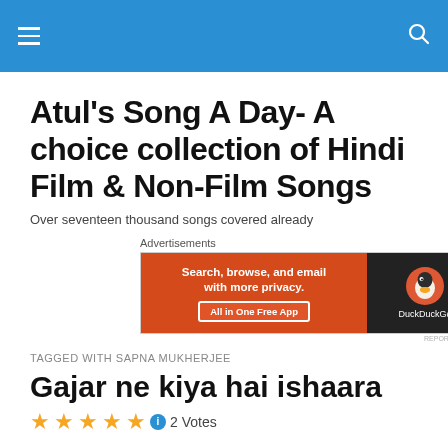Atul's Song A Day- A choice collection of Hindi Film & Non-Film Songs
Atul's Song A Day- A choice collection of Hindi Film & Non-Film Songs
Over seventeen thousand songs covered already
[Figure (screenshot): DuckDuckGo advertisement banner: Search, browse, and email with more privacy. All in One Free App]
TAGGED WITH SAPNA MUKHERJEE
Gajar ne kiya hai ishaara
2 Votes